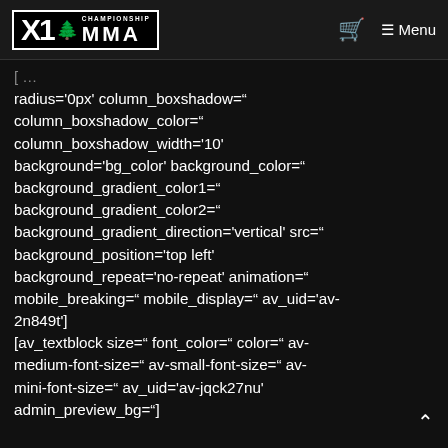X1 Championship MMA — Menu
radius='0px' column_boxshadow=" column_boxshadow_color=" column_boxshadow_width='10' background='bg_color' background_color=" background_gradient_color1=" background_gradient_color2=" background_gradient_direction='vertical' src=" background_position='top left' background_repeat='no-repeat' animation=" mobile_breaking=" mobile_display=" av_uid='av-2n849t'] [av_textblock size=" font_color=" color=" av-medium-font-size=" av-small-font-size=" av-mini-font-size=" av_uid='av-jqck27nu' admin_preview_bg="]